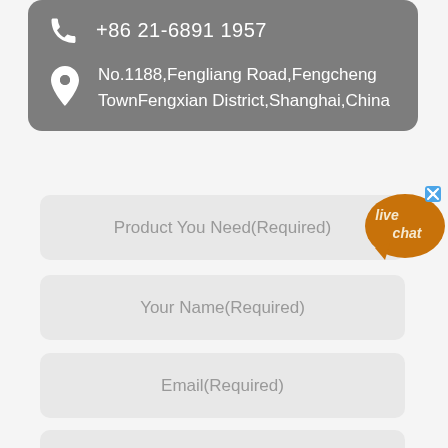+86 21-6891 1957
No.1188,Fengliang Road,Fengcheng TownFengxian District,Shanghai,China
Product You Need(Required)
[Figure (illustration): Live chat speech bubble in orange with text 'live chat', with a blue close button in top right corner]
Your Name(Required)
Email(Required)
Country(Required)